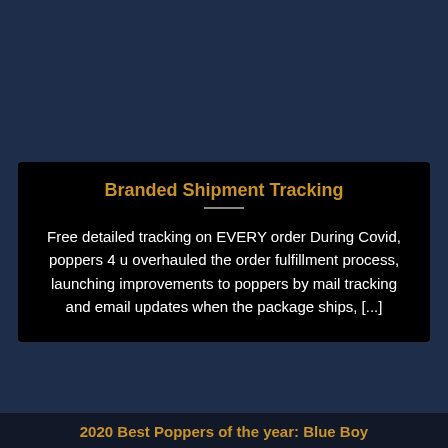Branded Shipment Tracking
Free detailed tracking on EVERY order During Covid, poppers 4 u overhauled the order fulfillment process, launching improvements to poppers by mail tracking and email updates when the package ships, [...]
2020 Best Poppers of the year: Blue Boy